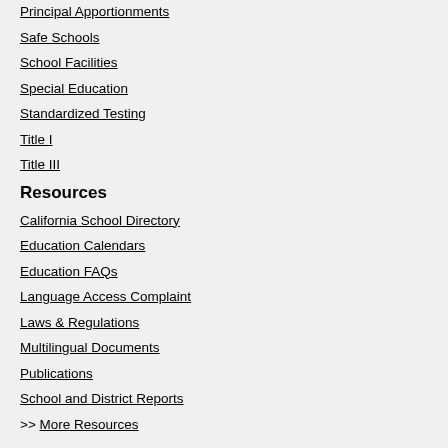Principal Apportionments
Safe Schools
School Facilities
Special Education
Standardized Testing
Title I
Title III
Resources
California School Directory
Education Calendars
Education FAQs
Language Access Complaint
Laws & Regulations
Multilingual Documents
Publications
School and District Reports
>> More Resources